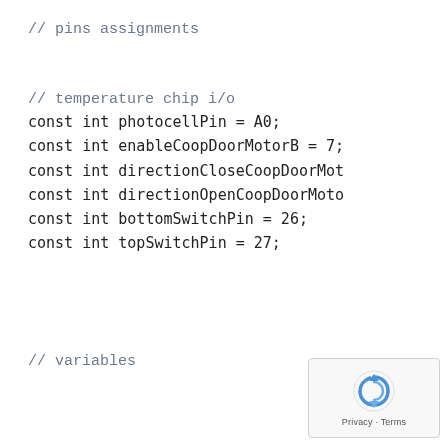// pins assignments
// temperature chip i/o
const int photocellPin = A0;
const int enableCoopDoorMotorB = 7;
const int directionCloseCoopDoorMot...
const int directionOpenCoopDoorMoto...
const int bottomSwitchPin = 26;
const int topSwitchPin = 27;
// variables
[Figure (logo): reCAPTCHA privacy badge with circular arrow icon and 'Privacy - Terms' text]